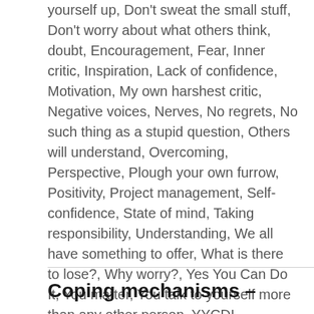yourself up, Don't sweat the small stuff, Don't worry about what others think, doubt, Encouragement, Fear, Inner critic, Inspiration, Lack of confidence, Motivation, My own harshest critic, Negative voices, Nerves, No regrets, No such thing as a stupid question, Others will understand, Overcoming, Perspective, Plough your own furrow, Positivity, Project management, Self-confidence, State of mind, Taking responsibility, Understanding, We all have something to offer, What is there to lose?, Why worry?, Yes You Can Do It, You matter, You talk to yourself more than any other person, YYCDI
Coping mechanisms –